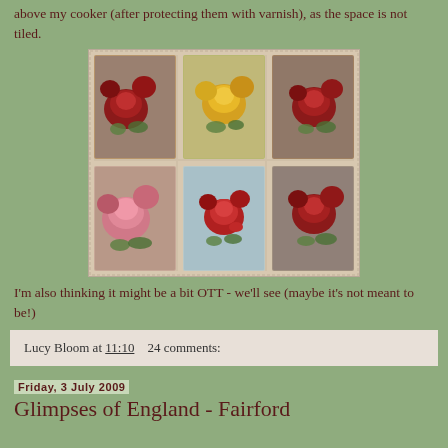above my cooker (after protecting them with varnish), as the space is not tiled.
[Figure (photo): Six decorative tiles arranged in a 3x2 grid, each featuring painted floral designs primarily roses. Top row: red roses, yellow roses, red roses. Bottom row: pink roses, mixed red flowers on light blue, red roses.]
I'm also thinking it might be a bit OTT - we'll see (maybe it's not meant to be!)
Lucy Bloom at 11:10    24 comments:
Friday, 3 July 2009
Glimpses of England - Fairford